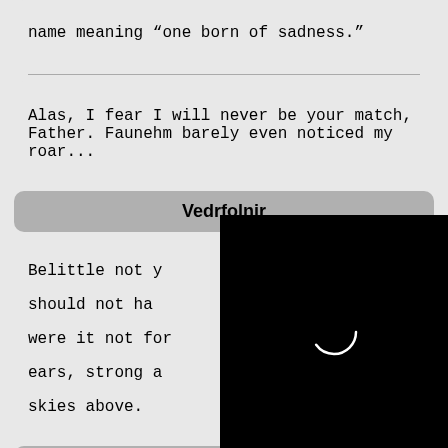name meaning “one born of sadness.”
Alas, I fear I will never be your match, Father. Faunehm barely even noticed my roar...
Vedrfolnir
Belittle not y... should not ha... were it not for... ears, strong a... skies above.
[Figure (photo): Black rectangle with a white loading spinner circle in the center, partially overlapping the text content]
Orn Khai
Father...
Ahem. Well, I suppose you are quite keen to talk with Faunehm. It's been quite some time since you last met